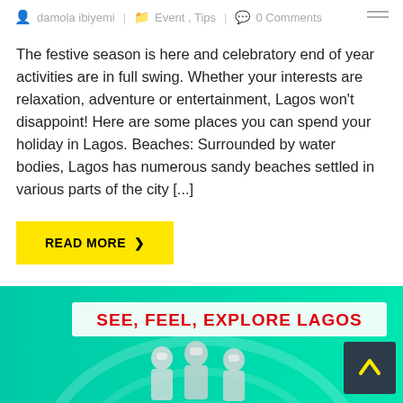damola ibiyemi | Event , Tips | 0 Comments
The festive season is here and celebratory end of year activities are in full swing. Whether your interests are relaxation, adventure or entertainment, Lagos won't disappoint! Here are some places you can spend your holiday in Lagos. Beaches: Surrounded by water bodies, Lagos has numerous sandy beaches settled in various parts of the city [...]
READ MORE ›
[Figure (photo): Promotional banner for Lagos tourism with teal/green background showing figures in chef or vendor attire with the text 'SEE, FEEL, EXPLORE LAGOS' in red bold letters. A dark back-to-top button with yellow chevron arrow appears in the bottom right.]